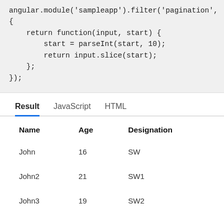angular.module('sampleapp').filter('pagination',
{
    return function(input, start) {
        start = parseInt(start, 10);
        return input.slice(start);
    };
});
Result   JavaScript   HTML
| Name | Age | Designation |
| --- | --- | --- |
| John | 16 | SW |
| John2 | 21 | SW1 |
| John3 | 19 | SW2 |